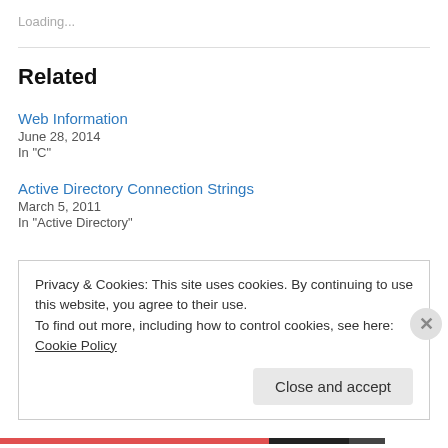Loading...
Related
Web Information
June 28, 2014
In "C"
Active Directory Connection Strings
March 5, 2011
In "Active Directory"
Privacy & Cookies: This site uses cookies. By continuing to use this website, you agree to their use.
To find out more, including how to control cookies, see here: Cookie Policy
Close and accept